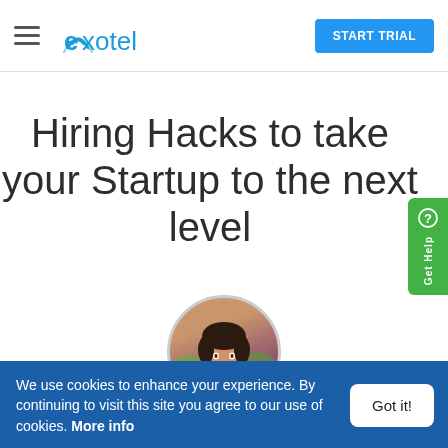[Figure (logo): Exotel logo with hamburger menu icon and START TRIAL button in top navigation bar]
Hiring Hacks to take your Startup to the next level
[Figure (photo): Circular profile photo of Sangeeta Bose, a woman smiling outdoors]
Sangeeta Bose
We use cookies to enhance your experience. By continuing to visit this site you agree to our use of cookies. More info